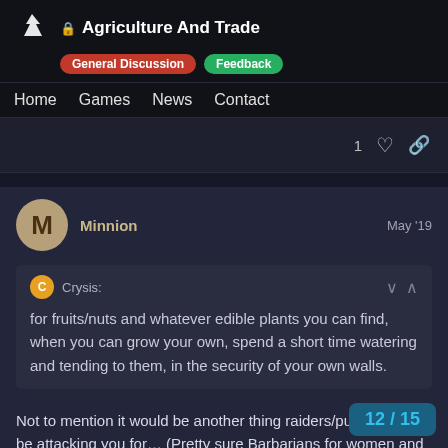Agriculture And Trade — General Discussion, Feedback
Home   Games   News   Contact
1
Minnion   May '19
Crysis:
for fruits/nuts and whatever edible plants you can find, when you can grow your own, spend a short time watering and tending to them, in the security of your own walls.
Not to mention it would be another thing raiders/purges could be attacking you for… (Pretty sure Barbarians for women and gold, but food and medicin
12 / 15